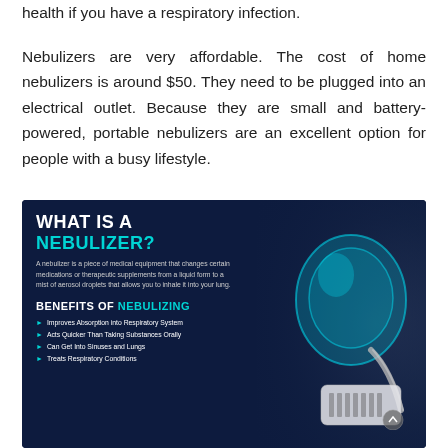health if you have a respiratory infection. Nebulizers are very affordable. The cost of home nebulizers is around $50. They need to be plugged into an electrical outlet. Because they are small and battery-powered, portable nebulizers are an excellent option for people with a busy lifestyle.
[Figure (infographic): Infographic on dark navy background with nebulizer device image on the right. Title: WHAT IS A NEBULIZER? with definition text. Section: BENEFITS OF NEBULIZING listing: Improves Absorption into Respiratory System, Acts Quicker Than Taking Substances Orally, Can Get Into Sinuses and Lungs, Treats Respiratory Conditions.]